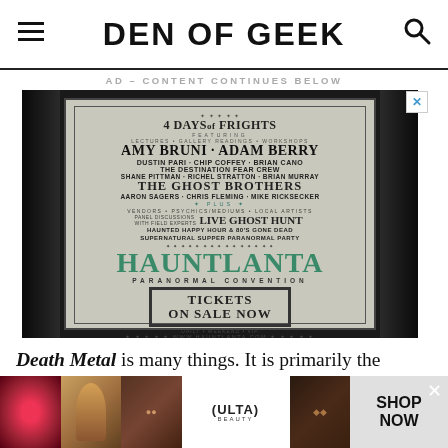DEN OF GEEK
AD – CONTENT CONTINUES BELOW
[Figure (photo): Hauntlanta Paranormal Convention advertisement poster showing '4 Days of Frights' event with featured guests including Amy Bruni, Adam Berry, Dustin Pari, Chip Coffey, Brian Cano, The Destination Fear Crew, Shane Pittman, Richel Stratton, Brian Murray, The Ghost Brothers, Aaron Sagers, Chris Fleming, Mike Ricksecker. Features Live Ghost Hunt, tickets on sale now, www.hauntlanta.com]
Death Metal is many things. It is primarily the capstone
[Figure (photo): ULTA Beauty advertisement banner with makeup imagery and 'SHOP NOW' call to action]